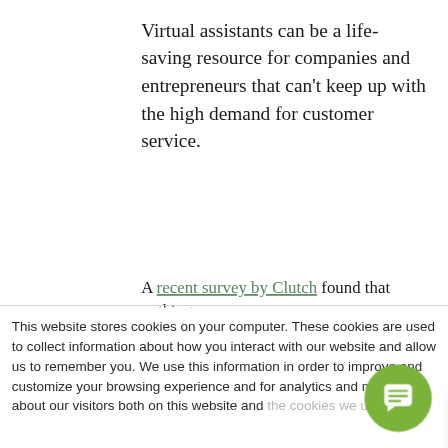Virtual assistants can be a life-saving resource for companies and entrepreneurs that can't keep up with the high demand for customer service.
A recent survey by Clutch found that nothing
This website stores cookies on your computer. These cookies are used to collect information about how you interact with our website and allow us to remember you. We use this information in order to improve and customize your browsing experience and for analytics and metrics about our visitors both on this website and [truncated by popup] the cookies we use,
If you decline, your i[nformation] when you visit this w[ebsite] used in your browse[r] not to be tracked.
Any questions or requests? I can schedule time with a human right now, or send in your question!